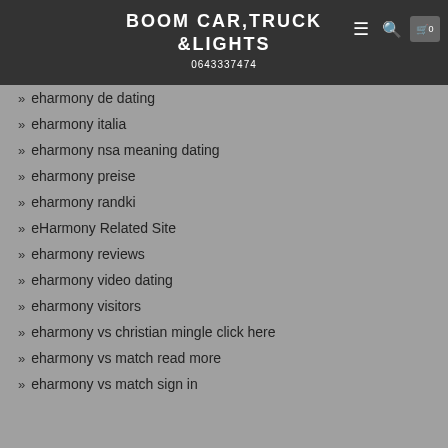BOOM CAR,TRUCK &LIGHTS
0643337474
eharmony de dating
eharmony italia
eharmony nsa meaning dating
eharmony preise
eharmony randki
eHarmony Related Site
eharmony reviews
eharmony video dating
eharmony visitors
eharmony vs christian mingle click here
eharmony vs match read more
eharmony vs match sign in